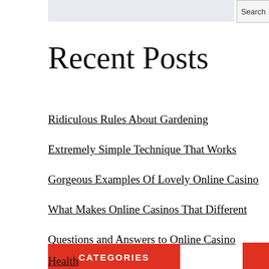Recent Posts
Ridiculous Rules About Gardening
Extremely Simple Technique That Works
Gorgeous Examples Of Lovely Online Casino
What Makes Online Casinos That Different
Questions and Answers to Online Casino
CATEGORIES
Health